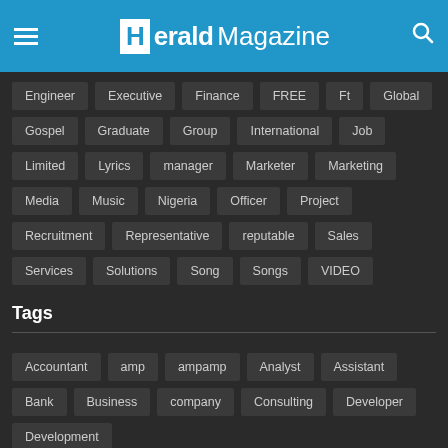Herald Magazine
Engineer
Executive
Finance
FREE
Ft
Global
Gospel
Graduate
Group
International
Job
Limited
Lyrics
manager
Marketer
Marketing
Media
Music
Nigeria
Officer
Project
Recruitment
Representative
reputable
Sales
Services
Solutions
Song
Songs
VIDEO
Tags
Accountant
amp
ampamp
Analyst
Assistant
Bank
Business
company
Consulting
Developer
Development